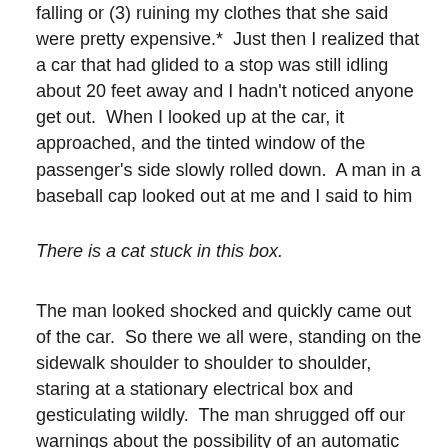falling or (3) ruining my clothes that she said were pretty expensive.*  Just then I realized that a car that had glided to a stop was still idling about 20 feet away and I hadn't noticed anyone get out.  When I looked up at the car, it approached, and the tinted window of the passenger's side slowly rolled down.  A man in a baseball cap looked out at me and I said to him
There is a cat stuck in this box.
The man looked shocked and quickly came out of the car.  So there we all were, standing on the sidewalk shoulder to shoulder to shoulder, staring at a stationary electrical box and gesticulating wildly.  The man shrugged off our warnings about the possibility of an automatic lock mechanism and entered the yard, with me closely behind him and the lady standing in the entrance to the yard so just in case the doors started closing she could stop them